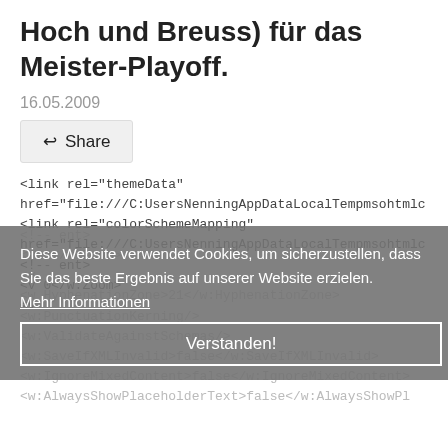Hoch und Breuss) für das Meister-Playoff.
16.05.2009
↩ Share
<link rel="themeData" href="file:///C:UsersNenningAppDataLocalTempmsohtmlc
<link rel="colorSchemeMapping"
href="file:///C:UsersNenningAppDataLocalTempmsohtmlc
<!-- ent>
<v 0</w:Zoom>
<v
<w HyphenationZone>21</w:HyphenationZone>
<w:PunctuationKerning/>
<w:ValidateAgainstSchemas/>
<w:SaveIfXMLInvalid>false</w:SaveIfXMLInvalid>
<w:IgnoreMixedContent>false</w:IgnoreMixedContent>
<w:AlwaysShowPlaceholderText>false</w:AlwaysShowPl
Diese Website verwendet Cookies, um sicherzustellen, dass Sie das beste Ergebnis auf unserer Website erzielen.
Mehr Informationen
Verstanden!